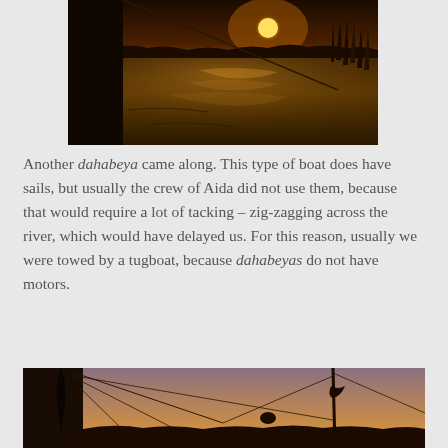[Figure (photo): A dahabeya boat on the Nile river at sunset, showing warm golden light reflecting on the water, silhouettes of reeds on the right, and a rope/mast element on the left.]
Another dahabeya came along. This type of boat does have sails, but usually the crew of Aida did not use them, because that would require a lot of tacking – zig-zagging across the river, which would have delayed us. For this reason, usually we were towed by a tugboat, because dahabeyas do not have motors.
[Figure (photo): A dahabeya sailboat at sunset/dusk, showing the tall mast and furled sail on the left, rigging lines, and another mast on the right against an orange-gold sky with a silhouetted treeline on the horizon.]